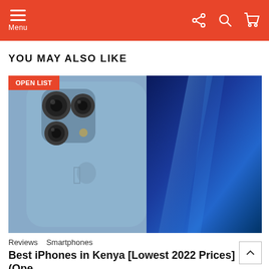Menu
YOU MAY ALSO LIKE
[Figure (photo): Close-up of iPhone 13 Pro in sierra blue showing triple camera system on back, alongside front screen showing blue abstract wallpaper. OPEN LIST badge in top-left corner.]
Reviews   Smartphones
Best iPhones in Kenya [Lowest 2022 Prices] (Open list) (11 picks in pictures)